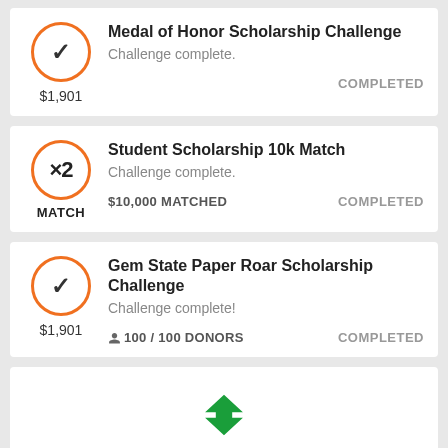Medal of Honor Scholarship Challenge
Challenge complete.
$1,901
COMPLETED
Student Scholarship 10k Match
Challenge complete.
×2
MATCH
$10,000 MATCHED
COMPLETED
Gem State Paper Roar Scholarship Challenge
Challenge complete!
$1,901
100 / 100 DONORS
COMPLETED
[Figure (logo): Green diamond/chevron logo icon at the bottom]